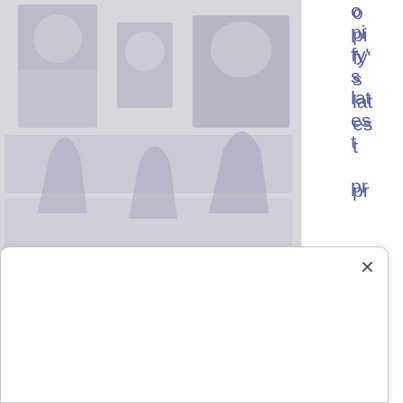[Figure (photo): A photo showing figures/people, partially visible, clipped at top, with muted gray-blue tones]
o pi fy' s lat es t pr ice is steady at $34.83 while listed in the New York Stock Exchange, whilst showing a trailing of yearly revenue of about USD$4.8 billion. Shopify currently has 10,000 staff in its employ. Its market capitalization amounts